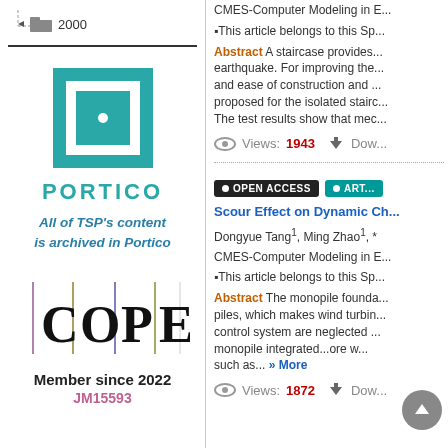[Figure (logo): Tree view with folder icon labeled 2000]
[Figure (logo): Portico logo with teal square icon and text: All of TSP's content is archived in Portico]
[Figure (logo): COPE logo with letters C|O|P|E separated by vertical lines of different colors, Member since 2022, JM15593]
CMES-Computer Modeling in ...
This article belongs to this Sp...
Abstract A staircase provides... earthquake. For improving the... and ease of construction and... proposed for the isolated stairc... The test results show that mec...
Views:1943   Dow...
OPEN ACCESS   ART...
Scour Effect on Dynamic Ch...
Dongyue Tang1, Ming Zhao1, *
CMES-Computer Modeling in E...
This article belongs to this Sp...
Abstract The monopile founda... piles, which makes wind turbin... control system are neglected... monopile integrated...ore w... such as... » More
Views:1872   Dow...